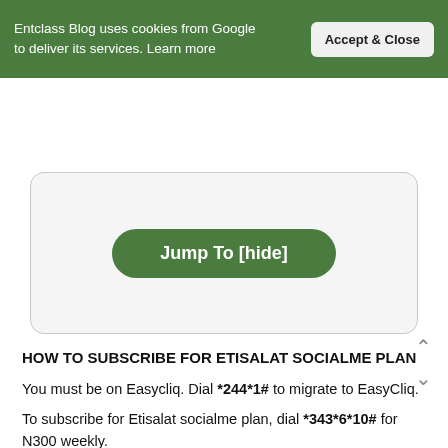entclassblog
Entclass Blog uses cookies from Google to deliver its services. Learn more
Accept & Close
[Figure (other): Jump To [hide] button inside a rounded rectangle box]
HOW TO SUBSCRIBE FOR ETISALAT SOCIALME PLAN
You must be on Easycliq. Dial *244*1# to migrate to EasyCliq.
To subscribe for Etisalat socialme plan, dial *343*6*10# for N300 weekly.
Dial *343*6*11# for N500 Monthly.
Both are unlimited.